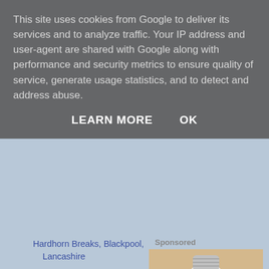This site uses cookies from Google to deliver its services and to analyze traffic. Your IP address and user-agent are shared with Google along with performance and security metrics to ensure quality of service, generate usage statistics, and to detect and address abuse.
LEARN MORE    OK
Hardhorn Breaks, Blackpool, Lancashire
Cedar Cottage, Grantown-on-Spey, Morayshire, Cairn...
Coed Cottages, Llanfechell, Cemaes Bay, Anglesey
Churchview House, Winterborne Abbas, Dorchester, D...
Doire Farm Cottages, Kenmare, Kilgarvan, Co Kerry
The Granary, Wingfield, Leighton Buzzard, Bedfords...
Sponsored
[Figure (photo): A hand holding a white smart light bulb security camera device with LED lights visible at the bottom]